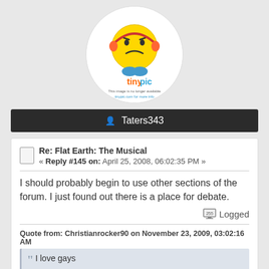[Figure (photo): TinyPic placeholder image in a white circle: yellow smiley face with headphones and blue shoes, with text 'tinypic' and 'This image is no longer available. tinypic.com for more info']
Taters343
Re: Flat Earth: The Musical
« Reply #145 on: April 25, 2008, 06:02:35 PM »
I should probably begin to use other sections of the forum. I just found out there is a place for debate.
Logged
Quote from: Christianrocker90 on November 23, 2009, 03:02:16 AM
I love gays